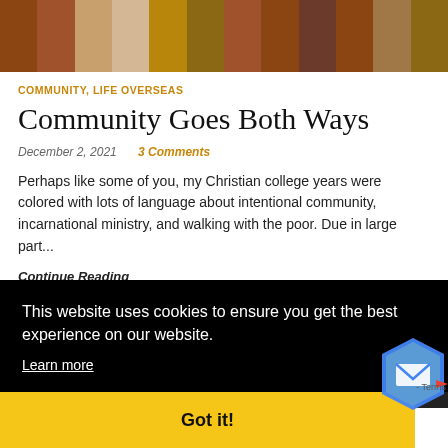[Figure (photo): Hero banner image showing rows of colorful spices or grains in dark and warm tones arranged in horizontal strips]
COMMUNITY, LIFE OVERSEAS
Community Goes Both Ways
December 2, 2021    3 Comments
Perhaps like some of you, my Christian college years were colored with lots of language about intentional community, incarnational ministry, and walking with the poor. Due in large part...
Continue Reading
This website uses cookies to ensure you get the best experience on our website.
Learn more
Got it!